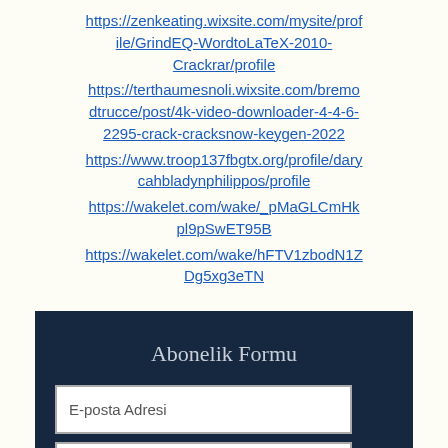https://zenkeating.wixsite.com/mysite/profile/GrindEQ-WordtoLaTeX-2010-Crackrar/profile
https://terthaumesnoli.wixsite.com/bremodtrucce/post/4k-video-downloader-4-4-6-2295-crack-cracksnow-keygen-2022
https://www.troop137fbgtx.org/profile/darycahbladynphilippos/profile
https://wakelet.com/wake/_pMaGLCmHkpl9pSwET95B
https://wakelet.com/wake/hFTV1zbodN1ZDg5xg3eTN
Abonelik Formu
E-posta Adresi
Gönder